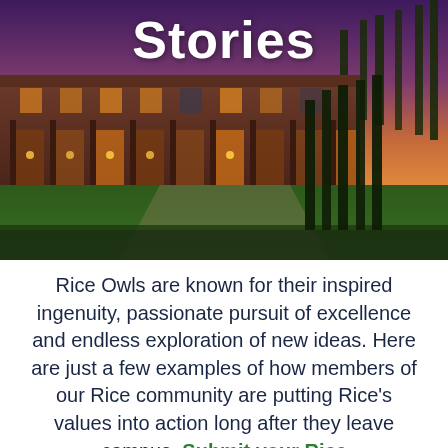[Figure (photo): Dusk photo of Rice University campus building — large brick building with arched colonnades, illuminated windows, tall cypress trees, green lawn, and dramatic purple-orange sky.]
Stories
Rice Owls are known for their inspired ingenuity, passionate pursuit of excellence and endless exploration of new ideas. Here are just a few examples of how members of our Rice community are putting Rice's values into action long after they leave campus. Submit your Rice